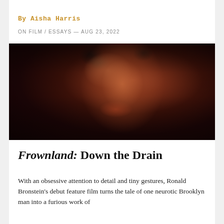By Aisha Harris
ON FILM / ESSAYS — AUG 23, 2022
[Figure (photo): Close-up portrait of a young man with dark hair, looking upward with mouth slightly open, warm film grain tones]
Frownland: Down the Drain
With an obsessive attention to detail and tiny gestures, Ronald Bronstein's debut feature film turns the tale of one neurotic Brooklyn man into a furious work of